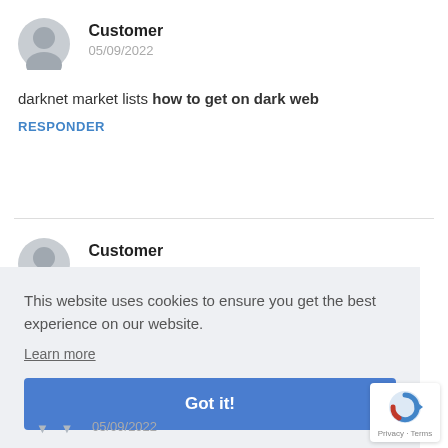Customer
05/09/2022
darknet market lists how to get on dark web
RESPONDER
Customer
This website uses cookies to ensure you get the best experience on our website.
Learn more
Got it!
05/09/2022